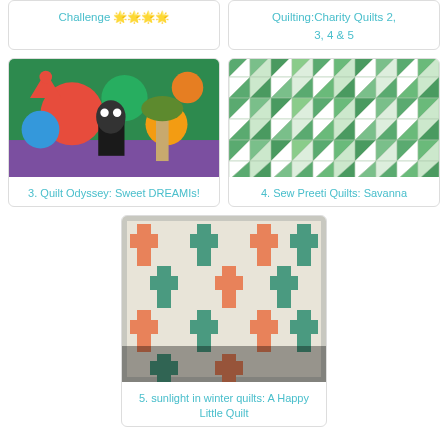Challenge 🌟🌟🌟🌟
Quilting:Charity Quilts 2, 3, 4 & 5
[Figure (photo): Colorful jungle-themed quilt fabric with animals including panda, giraffe, parrot, elephant in bright colors]
3. Quilt Odyssey: Sweet DREAMIs!
[Figure (photo): Green and white patterned quilt with triangles and small squares in a repeating geometric pattern]
4. Sew Preeti Quilts: Savanna
[Figure (photo): White quilt with cross/plus shaped blocks in orange/coral and teal/green colors arranged in a pattern]
5. sunlight in winter quilts: A Happy Little Quilt